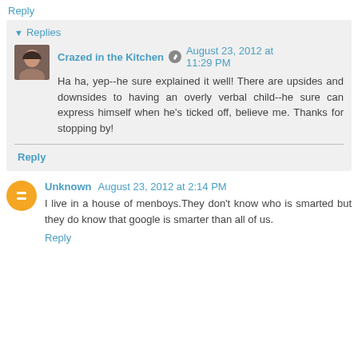Reply
Replies
Crazed in the Kitchen  August 23, 2012 at 11:29 PM
Ha ha, yep--he sure explained it well! There are upsides and downsides to having an overly verbal child--he sure can express himself when he's ticked off, believe me. Thanks for stopping by!
Reply
Unknown  August 23, 2012 at 2:14 PM
I live in a house of menboys.They don't know who is smarted but they do know that google is smarter than all of us.
Reply